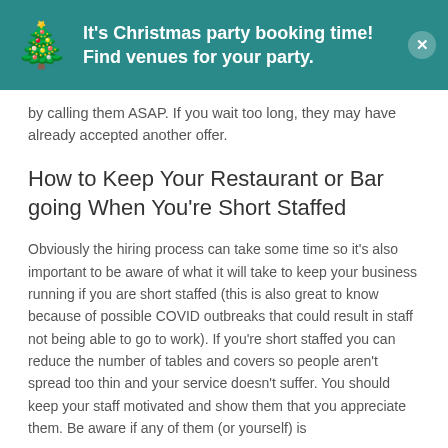[Figure (other): Christmas party booking banner with teal background, Christmas tree emoji, bold white text 'It's Christmas party booking time! Find venues for your party.' and a close button]
by calling them ASAP. If you wait too long, they may have already accepted another offer.
How to Keep Your Restaurant or Bar going When You're Short Staffed
Obviously the hiring process can take some time so it's also important to be aware of what it will take to keep your business running if you are short staffed (this is also great to know because of possible COVID outbreaks that could result in staff not being able to go to work). If you're short staffed you can reduce the number of tables and covers so people aren't spread too thin and your service doesn't suffer. You should keep your staff motivated and show them that you appreciate them. Be aware if any of them (or yourself) is